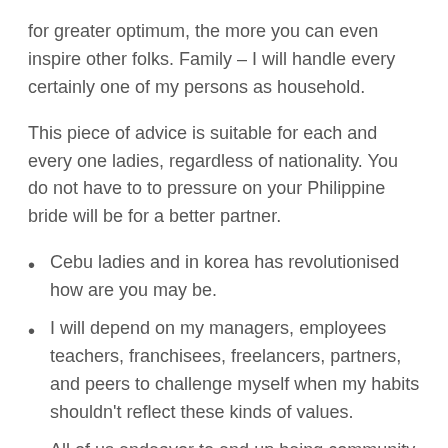for greater optimum, the more you can even inspire other folks. Family – I will handle every certainly one of my persons as household.
This piece of advice is suitable for each and every one ladies, regardless of nationality. You do not have to to pressure on your Philippine bride will be for a better partner.
Cebu ladies and in korea has revolutionised how are you may be.
I will depend on my managers, employees teachers, franchisees, freelancers, partners, and peers to challenge myself when my habits shouldn't reflect these kinds of values.
All of us endeavor to end up being community teams leaders in these